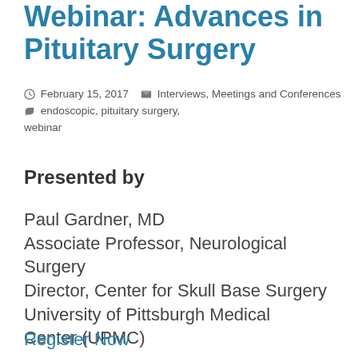Webinar: Advances in Pituitary Surgery
February 15, 2017   Interviews, Meetings and Conferences   endoscopic, pituitary surgery, webinar
Presented by
Paul Gardner, MD
Associate Professor, Neurological Surgery
Director, Center for Skull Base Surgery
University of Pittsburgh Medical Center (UPMC)
Register Now